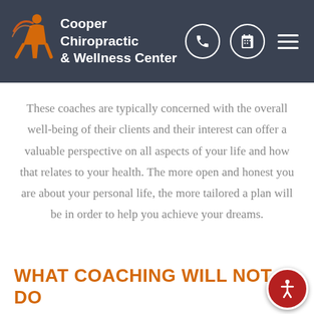Cooper Chiropractic & Wellness Center
These coaches are typically concerned with the overall well-being of their clients and their interest can offer a valuable perspective on all aspects of your life and how that relates to your health. The more open and honest you are about your personal life, the more tailored a plan will be in order to help you achieve your dreams.
WHAT COACHING WILL NOT DO